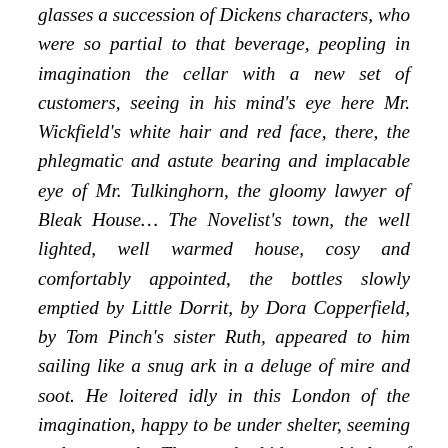glasses a succession of Dickens characters, who were so partial to that beverage, peopling in imagination the cellar with a new set of customers, seeing in his mind's eye here Mr. Wickfield's white hair and red face, there, the phlegmatic and astute bearing and implacable eye of Mr. Tulkinghorn, the gloomy lawyer of Bleak House… The Novelist's town, the well lighted, well warmed house, cosy and comfortably appointed, the bottles slowly emptied by Little Dorrit, by Dora Copperfield, by Tom Pinch's sister Ruth, appeared to him sailing like a snug ark in a deluge of mire and soot. He loitered idly in this London of the imagination, happy to be under shelter, seeming to hear on the Thames the hideous whistles of the tugs at work